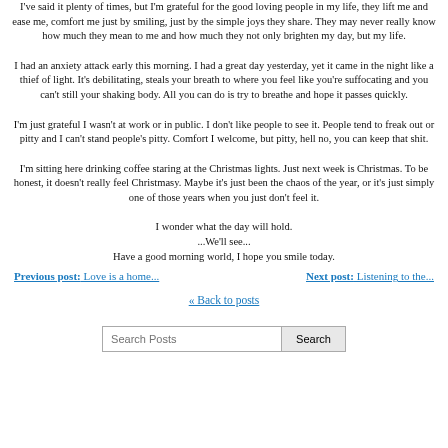I've said it plenty of times, but I'm grateful for the good loving people in my life, they lift me and ease me, comfort me just by smiling, just by the simple joys they share. They may never really know how much they mean to me and how much they not only brighten my day, but my life.

I had an anxiety attack early this morning. I had a great day yesterday, yet it came in the night like a thief of light. It's debilitating, steals your breath to where you feel like you're suffocating and you can't still your shaking body. All you can do is try to breathe and hope it passes quickly.

I'm just grateful I wasn't at work or in public. I don't like people to see it. People tend to freak out or pitty and I can't stand people's pitty. Comfort I welcome, but pitty, hell no, you can keep that shit.

I'm sitting here drinking coffee staring at the Christmas lights. Just next week is Christmas. To be honest, it doesn't really feel Christmasy. Maybe it's just been the chaos of the year, or it's just simply one of those years when you just don't feel it.

I wonder what the day will hold.
...We'll see...
Have a good morning world, I hope you smile today.
Previous post: Love is a home...   Next post: Listening to the...
« Back to posts